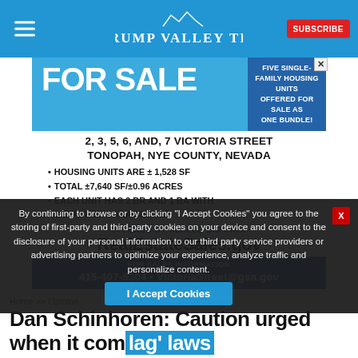Pahrump Valley Times
[Figure (infographic): Real estate advertisement for five single-family housing units for sale at 2, 3, 5, 6, and 7 Victoria Street, Tonopah, Nye County, Nevada. Lists: Housing units are ±1,528 SF; Total ±7,640 SF/±0.96 Acres; Each unit has 2 BR and 1 BA with detached garage/shed. Offered by sealed bid sale at RealEstateSales.gov. Contact: 415-407-5304 • VictoriaStreet@gsa.gov]
By continuing to browse or by clicking "I Accept Cookies" you agree to the storing of first-party and third-party cookies on your device and consent to the disclosure of your personal information to our third party service providers or advertising partners to optimize your experience, analyze traffic and personalize content.
Home >> Opinion
Dan Schinhoren: Caution urged when it com 'lag' laws